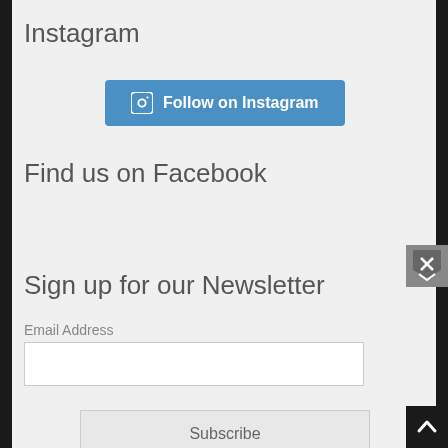Instagram
[Figure (other): Follow on Instagram button with Instagram camera icon, blue background]
Find us on Facebook
Sign up for our Newsletter
Email Address
[Figure (other): Email address input text field, white background]
[Figure (other): Subscribe button, light gray background]
[Figure (other): Bookmark/close widget icon, gray square]
[Figure (other): Back to top arrow button, black square]